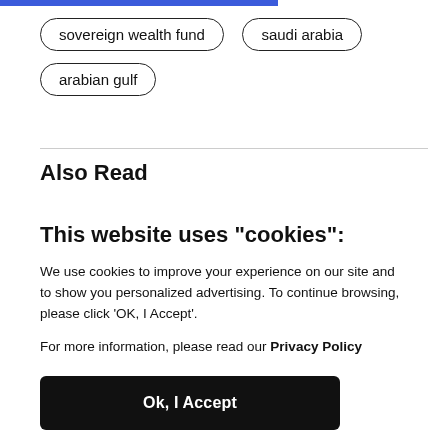sovereign wealth fund
saudi arabia
arabian gulf
Also Read
This website uses "cookies":
We use cookies to improve your experience on our site and to show you personalized advertising. To continue browsing, please click 'OK, I Accept'.
For more information, please read our Privacy Policy
Ok, I Accept